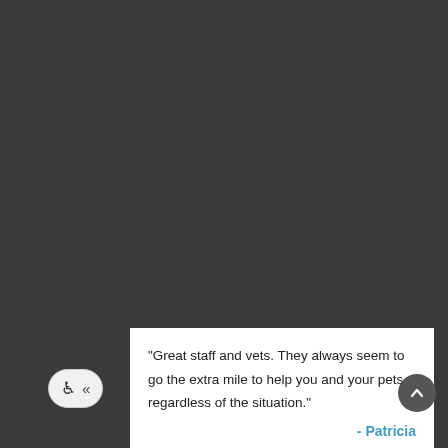"Great staff and vets. They always seem to go the extra mile to help you and your pets, regardless of the situation."
- Patricia
04/25/2021 20:49:08
"Very satisfied with the service and communication between both the staff and myself regarding my dogs care ,current and future. "
- Randy
04/20/2021 21:18:08